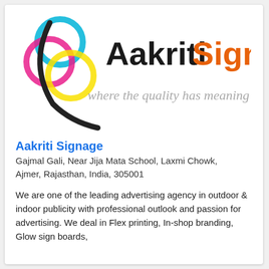[Figure (logo): Aakriti Signage logo with CMYK color circles and swoosh, company name 'Aakriti' in black and 'Signage' in orange, tagline 'where the quality has meaning' in grey italic script]
Aakriti Signage
Gajmal Gali, Near Jija Mata School, Laxmi Chowk, Ajmer, Rajasthan, India, 305001
We are one of the leading advertising agency in outdoor & indoor publicity with professional outlook and passion for advertising. We deal in Flex printing, In-shop branding, Glow sign boards,